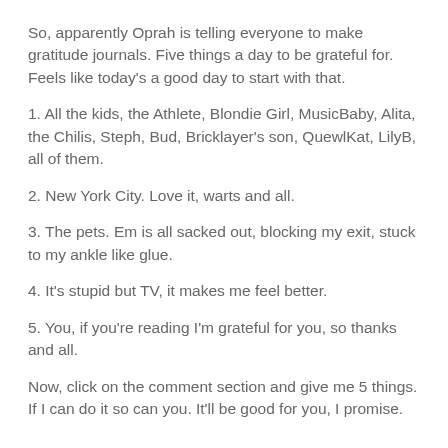So, apparently Oprah is telling everyone to make gratitude journals. Five things a day to be grateful for. Feels like today's a good day to start with that.
1. All the kids, the Athlete, Blondie Girl, MusicBaby, Alita, the Chilis, Steph, Bud, Bricklayer's son, QuewlKat, LilyB, all of them.
2. New York City. Love it, warts and all.
3. The pets. Em is all sacked out, blocking my exit, stuck to my ankle like glue.
4. It's stupid but TV, it makes me feel better.
5. You, if you're reading I'm grateful for you, so thanks and all.
Now, click on the comment section and give me 5 things. If I can do it so can you. It'll be good for you, I promise.